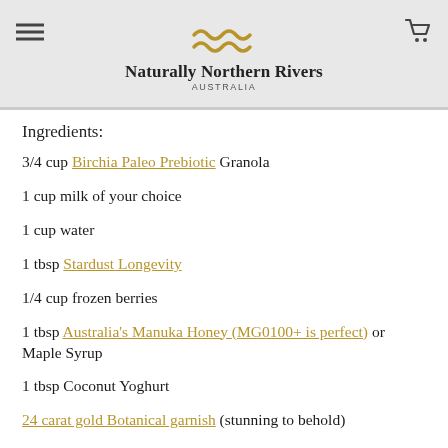Naturally Northern Rivers AUSTRALIA
Ingredients:
3/4 cup Birchia Paleo Prebiotic Granola
1 cup milk of your choice
1 cup water
1 tbsp Stardust Longevity
1/4 cup frozen berries
1 tbsp Australia's Manuka Honey (MG0100+ is perfect) or Maple Syrup
1 tbsp Coconut Yoghurt
24 carat gold Botanical garnish (stunning to behold)